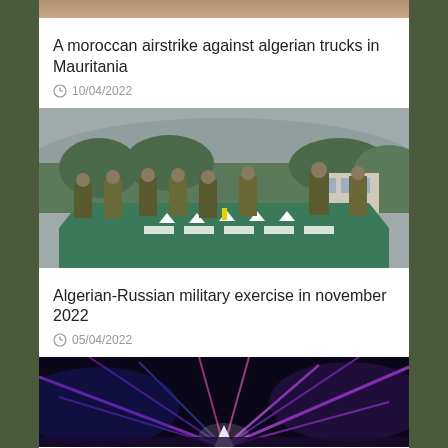[Figure (photo): Partial top image, cropped]
A moroccan airstrike against algerian trucks in Mauritania
10/04/2022
[Figure (photo): Military personnel in camouflage uniforms standing on a green tactical map/terrain model outdoors, with trees and a building in the misty background]
Algerian-Russian military exercise in november 2022
05/04/2022
[Figure (photo): Concert or show with colorful laser beams in purple, blue, and pink radiating from a central bright point, with a white pyramid/triangle shape at the bottom center]